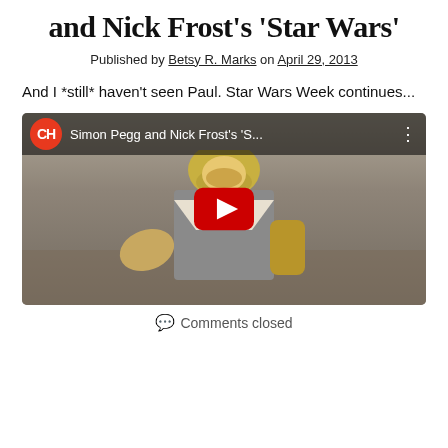and Nick Frost's 'Star Wars'
Published by Betsy R. Marks on April 29, 2013
And I *still* haven't seen Paul. Star Wars Week continues...
[Figure (screenshot): YouTube video thumbnail showing Simon Pegg and Nick Frost's 'Star Wars' video with a CH (CollegeHumor) channel logo, video title, and a man dressed in a costume resembling C-3PO with a gold helmet and armor, with a red YouTube play button overlay.]
Comments closed